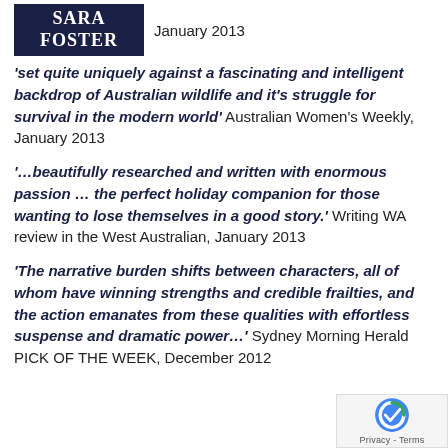SARA FOSTER  January 2013
'set quite uniquely against a fascinating and intelligent backdrop of Australian wildlife and it's struggle for survival in the modern world' Australian Women's Weekly, January 2013
'...beautifully researched and written with enormous passion … the perfect holiday companion for those wanting to lose themselves in a good story.' Writing WA review in the West Australian, January 2013
'The narrative burden shifts between characters, all of whom have winning strengths and credible frailties, and the action emanates from these qualities with effortless suspense and dramatic power...' Sydney Morning Herald PICK OF THE WEEK, December 2012